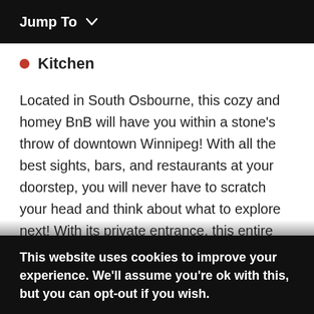Jump To ∨
Kitchen
Located in South Osbourne, this cozy and homey BnB will have you within a stone's throw of downtown Winnipeg! With all the best sights, bars, and restaurants at your doorstep, you will never have to scratch your head and think about what to explore next! With its private entrance, this entire apartment will be yours while adventuring through Winnipeg. With its natural light, laid back vibes, and boutique decor, there is no better place to base yourself out of in the city! Top it off with hosts that will make you
This website uses cookies to improve your experience. We'll assume you're ok with this, but you can opt-out if you wish.